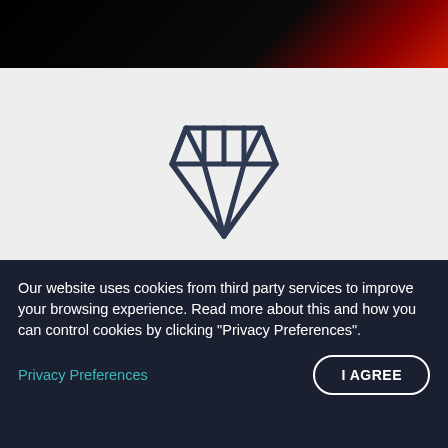[Figure (illustration): Dark top banner with gradient from black to dark red/orange on the right side]
[Figure (illustration): Diamond gem icon outline in dark navy/charcoal color, centered on a light gray background]
Our website uses cookies from third party services to improve your browsing experience. Read more about this and how you can control cookies by clicking "Privacy Preferences".
Privacy Preferences
I AGREE